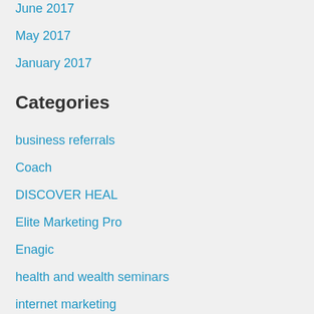June 2017
May 2017
January 2017
Categories
business referrals
Coach
DISCOVER HEAL
Elite Marketing Pro
Enagic
health and wealth seminars
internet marketing
network marketing
success formula
Uncategorized